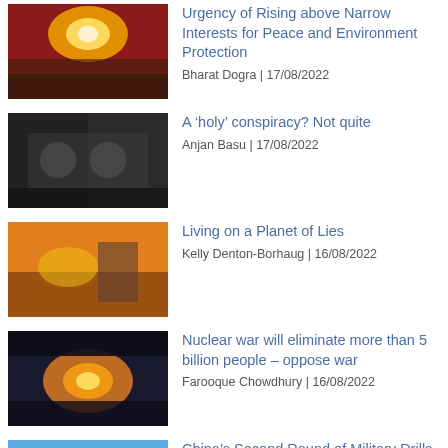Urgency of Rising above Narrow Interests for Peace and Environment Protection | Bharat Dogra | 17/08/2022
A ‘holy’ conspiracy? Not quite | Anjan Basu | 17/08/2022
Living on a Planet of Lies | Kelly Denton-Borhaug | 16/08/2022
Nuclear war will eliminate more than 5 billion people – oppose war | Farooque Chowdhury | 16/08/2022
China’s Second Round of Military Drills Near Taiwan After More U.S. Lawmakers Visit The Island | Countercurrents Collective | 16/08/2022